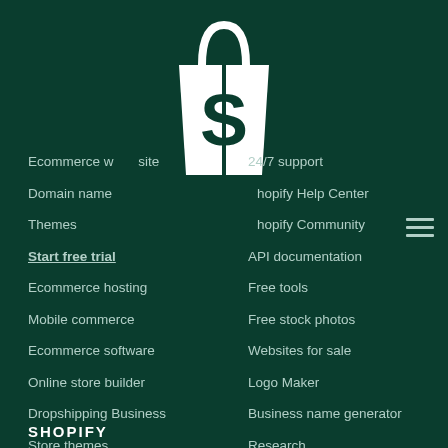[Figure (logo): Shopify shopping bag logo in white on dark green background]
Ecommerce website
Domain names
Themes
Start free trial
Ecommerce hosting
Mobile commerce
Ecommerce software
Online store builder
Dropshipping Business
Store themes
24/7 support
Shopify Help Center
Shopify Community
API documentation
Free tools
Free stock photos
Websites for sale
Logo Maker
Business name generator
Research
Legal
SHOPIFY